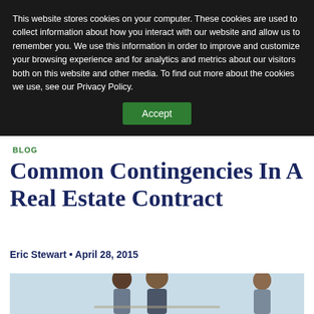This website stores cookies on your computer. These cookies are used to collect information about how you interact with our website and allow us to remember you. We use this information in order to improve and customize your browsing experience and for analytics and metrics about our visitors both on this website and other media. To find out more about the cookies we use, see our Privacy Policy.
Accept
BLOG
Common Contingencies In A Real Estate Contract
Eric Stewart • April 28, 2015
[Figure (photo): Two people (a couple) looking at a document together with a third person (consultant/agent) sitting across from them]